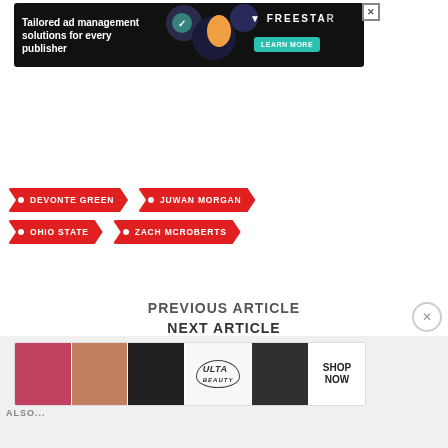[Figure (screenshot): Freestar ad banner: 'Tailored ad management solutions for every publisher' with Learn More button on dark background]
DEVONTE GREEN
JUWAN MORGAN
OHIO STATE
ZACH MCROBERTS
PREVIOUS ARTICLE
NEXT ARTICLE
[Figure (screenshot): Ulta Beauty advertisement banner with makeup imagery and Shop Now button]